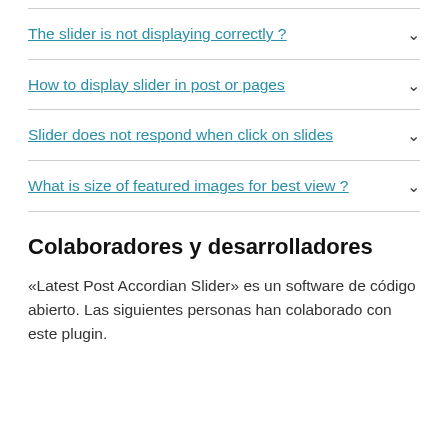The slider is not displaying correctly ?
How to display slider in post or pages
Slider does not respond when click on slides
What is size of featured images for best view ?
Colaboradores y desarrolladores
«Latest Post Accordian Slider» es un software de código abierto. Las siguientes personas han colaborado con este plugin.